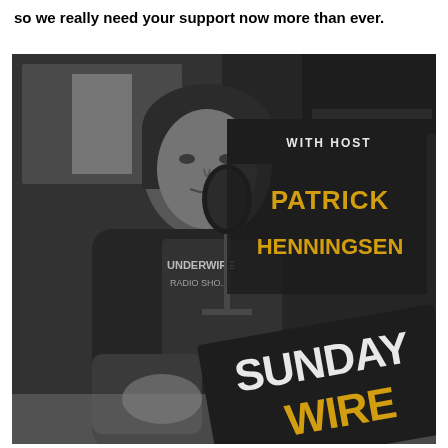so we really need your support now more than ever.
[Figure (photo): Black and white promotional photo of Patrick Henningsen sitting at a radio studio desk with a microphone, wearing a hoodie over a graphic tee. Overlaid graphics show 'WITH HOST' in white text on a black banner, 'PATRICK HENNINGSEN' in gold/amber text, and a large 'SUNDAY WIRE' logo in the bottom right with white and gold text on black background.]